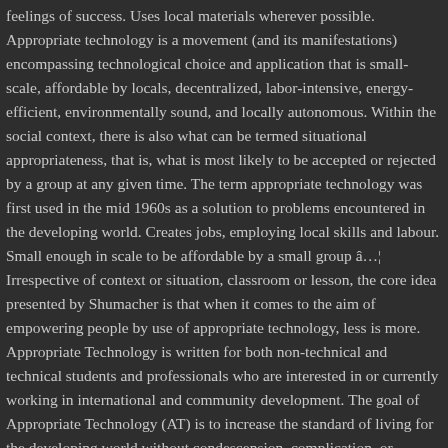feelings of success. Uses local materials wherever possible. Appropriate technology is a movement (and its manifestations) encompassing technological choice and application that is small-scale, affordable by locals, decentralized, labor-intensive, energy-efficient, environmentally sound, and locally autonomous. Within the social context, there is also what can be termed situational appropriateness, that is, what is most likely to be accepted or rejected by a group at any given time. The term appropriate technology was first used in the mid 1960s as a solution to problems encountered in the developing world. Creates jobs, employing local skills and labour. Small enough in scale to be affordable by a small group â€¦ Irrespective of context or situation, classroom or lesson, the core idea presented by Shumacher is that when it comes to the aim of empowering people by use of appropriate technology, less is more. Appropriate Technology is written for both non-technical and technical students and professionals who are interested in or currently working in international and community development. The goal of Appropriate Technology (AT) is to increase the standard of living for the developing world without condescension, complication, or environmental